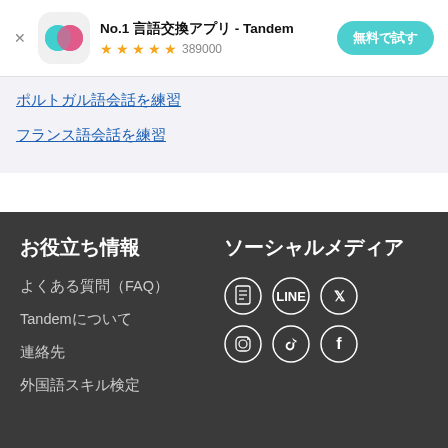[Figure (screenshot): Tandem app advertisement banner with app icon (teal and pink overlapping circles), app name 'No.1 言語交換アプリ - Tandem', 4.5 star rating showing 389000 reviews, and a teal '無料で試す' (Try for free) button. X close button on the left.]
ポルトガル語会話を練習
フランス語会話を練習
お役立ち情報
ソーシャルメディア
よくある質問（FAQ）
Tandemについて
連絡先
外国語スキル検定
[Figure (illustration): Six social media icons in two rows of three: Row 1: document/page icon, LINE icon, Twitter/X icon. Row 2: Instagram icon, TikTok icon, Facebook icon. All white outlined circles on dark background.]